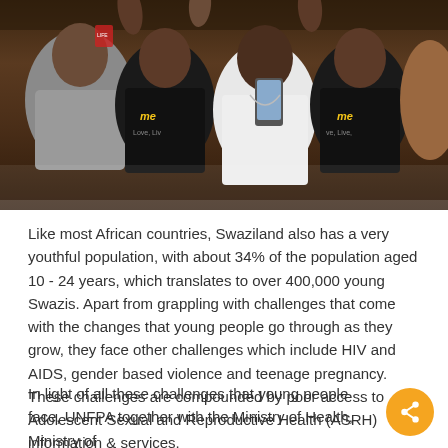[Figure (photo): A group of young people, some wearing black t-shirts with 'me' branding and text reading 'Love, Live', crowded together. A young woman in the center wearing a white t-shirt is looking at a smartphone.]
Like most African countries, Swaziland also has a very youthful population, with about 34% of the population aged 10 - 24 years, which translates to over 400,000 young Swazis. Apart from grappling with challenges that come with the changes that young people go through as they grow, they face other challenges which include HIV and AIDS, gender based violence and teenage pregnancy. These challenges are compounded by poor access to Adolescent Sexual and Reproductive Health (ASRH) information & services.
In light of all these challenges that young people face, UNFPA together with the Ministry of Health, Ministry of